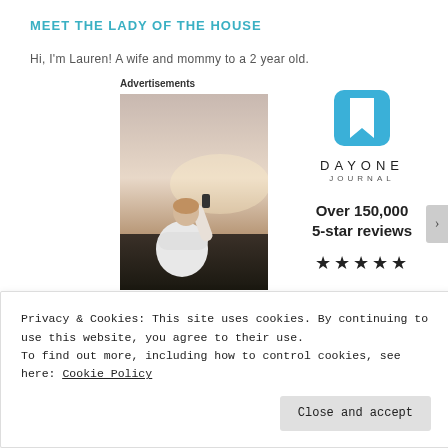MEET THE LADY OF THE HOUSE
Hi, I'm Lauren! A wife and mommy to a 2 year old.
Advertisements
[Figure (photo): Person photographed from behind, wearing a white t-shirt, holding a phone up toward a sky with warm sunset light.]
[Figure (logo): Day One Journal app advertisement. Shows the app icon (bookmark on blue square), the text DAYONE JOURNAL, Over 150,000 5-star reviews, and five star rating symbols.]
Privacy & Cookies: This site uses cookies. By continuing to use this website, you agree to their use.
To find out more, including how to control cookies, see here: Cookie Policy
Close and accept